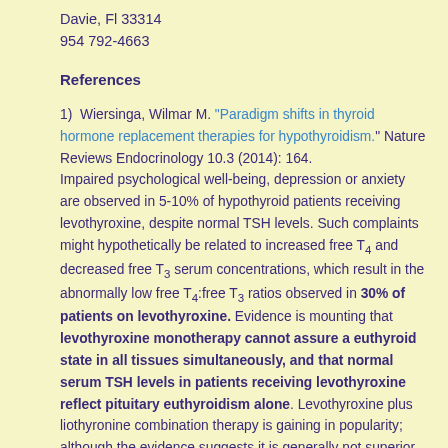Davie, Fl 33314
954 792-4663
References
1) Wiersinga, Wilmar M. “Paradigm shifts in thyroid hormone replacement therapies for hypothyroidism.” Nature Reviews Endocrinology 10.3 (2014): 164. Impaired psychological well-being, depression or anxiety are observed in 5-10% of hypothyroid patients receiving levothyroxine, despite normal TSH levels. Such complaints might hypothetically be related to increased free T4 and decreased free T3 serum concentrations, which result in the abnormally low free T4:free T3 ratios observed in 30% of patients on levothyroxine. Evidence is mounting that levothyroxine monotherapy cannot assure a euthyroid state in all tissues simultaneously, and that normal serum TSH levels in patients receiving levothyroxine reflect pituitary euthyroidism alone. Levothyroxine plus liothyronine combination therapy is gaining in popularity; although the evidence suggests it is generally not superior to levothyroxine monotherapy, in some of the 14 published trials this combination was definitely preferred by patients and associated with improved metabolic